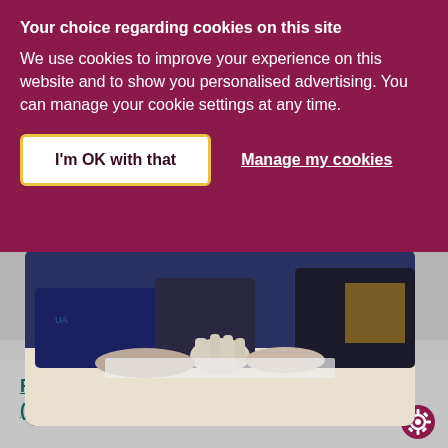Your choice regarding cookies on this site
We use cookies to improve your experience on this website and to show you personalised advertising. You can manage your cookie settings at any time.
I'm OK with that
Manage my cookies
[Figure (photo): Students sitting at a table examining a skeletal hand model, wearing sports/school uniforms]
FdA Sport Development and Coaching (CP20)